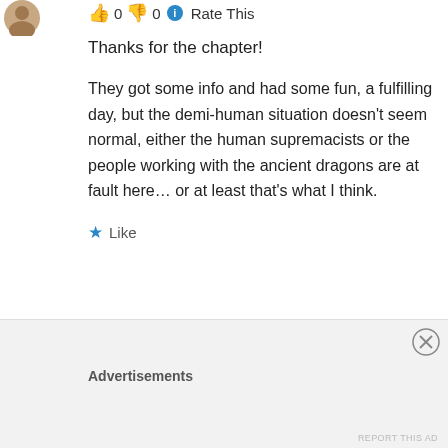👍 0 👎 0 ℹ Rate This
Thanks for the chapter!
They got some info and had some fun, a fulfilling day, but the demi-human situation doesn't seem normal, either the human supremacists or the people working with the ancient dragons are at fault here… or at least that's what I think.
★ Like
↪ Reply
Advertisements